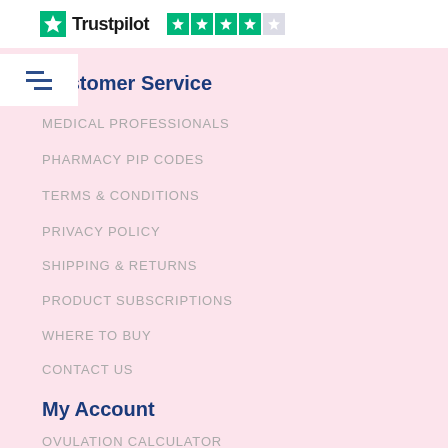[Figure (logo): Trustpilot logo with star rating icons — four green stars and one grey star]
Customer Service
MEDICAL PROFESSIONALS
PHARMACY PIP CODES
TERMS & CONDITIONS
PRIVACY POLICY
SHIPPING & RETURNS
PRODUCT SUBSCRIPTIONS
WHERE TO BUY
CONTACT US
My Account
OVULATION CALCULATOR
MY ACCOUNT